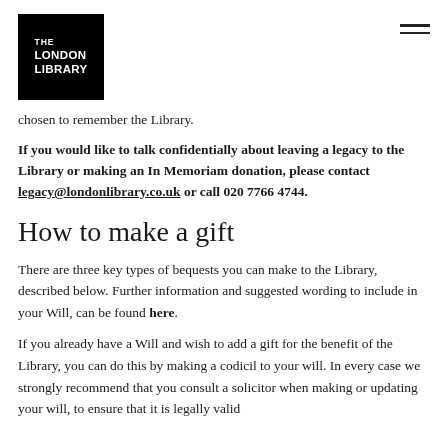[Figure (logo): The London Library logo — white text on black square background]
chosen to remember the Library.
If you would like to talk confidentially about leaving a legacy to the Library or making an In Memoriam donation, please contact legacy@londonlibrary.co.uk or call 020 7766 4744.
How to make a gift
There are three key types of bequests you can make to the Library, described below. Further information and suggested wording to include in your Will, can be found here.
If you already have a Will and wish to add a gift for the benefit of the Library, you can do this by making a codicil to your will. In every case we strongly recommend that you consult a solicitor when making or updating your will, to ensure that it is legally valid